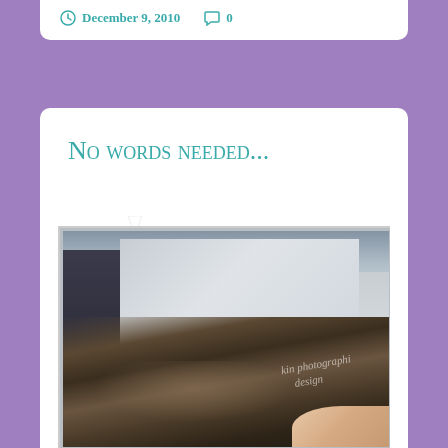December 9, 2010   0
No words needed...
[Figure (photo): Close-up photo of a young child's head from above, with blurry background showing what appears to be paper/cardboard. Child has light brown hair. Watermark text visible. Child's hand holding something yellow/orange visible at bottom right.]